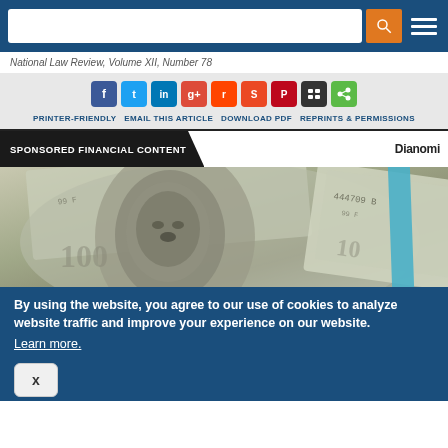National Law Review, Volume XII, Number 78
[Figure (screenshot): Social media sharing icons row: Facebook, Twitter, LinkedIn, Google+, Reddit, StumbleUpon, Pinterest, Buffer/Layers, Share]
PRINTER-FRIENDLY  EMAIL THIS ARTICLE  DOWNLOAD PDF  REPRINTS & PERMISSIONS
SPONSORED FINANCIAL CONTENT
Dianomi
[Figure (photo): Close-up photo of US currency bills including $100 bill showing Benjamin Franklin portrait and $10 bill with serial number 444709B]
By using the website, you agree to our use of cookies to analyze website traffic and improve your experience on our website. Learn more.